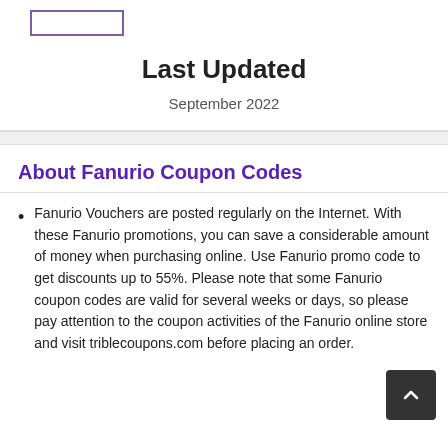[Figure (other): Placeholder box outline (purple border rectangle)]
Last Updated
September 2022
About Fanurio Coupon Codes
Fanurio Vouchers are posted regularly on the Internet. With these Fanurio promotions, you can save a considerable amount of money when purchasing online. Use Fanurio promo code to get discounts up to 55%. Please note that some Fanurio coupon codes are valid for several weeks or days, so please pay attention to the coupon activities of the Fanurio online store and visit triblecoupons.com before placing an order.